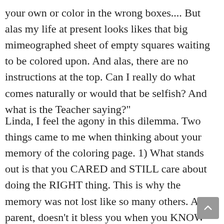your own or color in the wrong boxes.... But alas my life at present looks likes that big mimeographed sheet of empty squares waiting to be colored upon. And alas, there are no instructions at the top. Can I really do what comes naturally or would that be selfish? And what is the Teacher saying?"
Linda, I feel the agony in this dilemma. Two things came to me when thinking about your memory of the coloring page. 1) What stands out is that you CARED and STILL care about doing the RIGHT thing. This is why the memory was not lost like so many others. As a parent, doesn't it bless you when you KNOW that your child wants to do the right thing? 2)Why not try for a time being content to do things naturally. Since we are